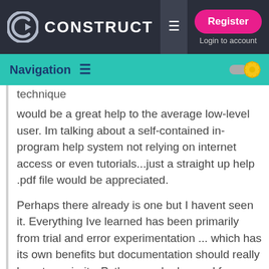[Figure (screenshot): Construct website top navigation bar with logo, hamburger menu, Register button, and Login to account link]
Navigation
technique
would be a great help to the average low-level user. Im talking about a self-contained in-program help system not relying on internet access or even tutorials...just a straight up help .pdf file would be appreciated.
Perhaps there already is one but I havent seen it. Everything Ive learned has been primarily from trial and error experimentation ... which has its own benefits but documentation should really be a top priority. Python can be learned from reading available reading material but reading material on construct seems to be piece meal, hit and